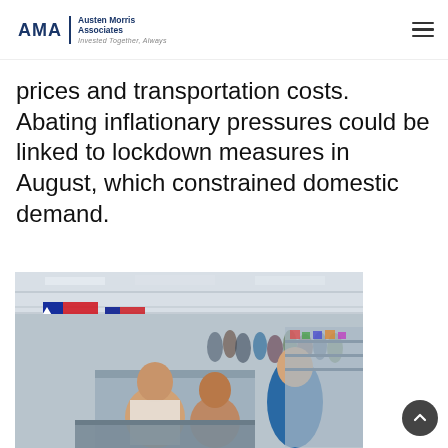AMA | Austen Morris Associates — Invested Together, Always
prices and transportation costs. Abating inflationary pressures could be linked to lockdown measures in August, which constrained domestic demand.
[Figure (photo): Crowded indoor market or large retail store with shoppers and Chilean flags visible, viewed from slightly elevated angle.]